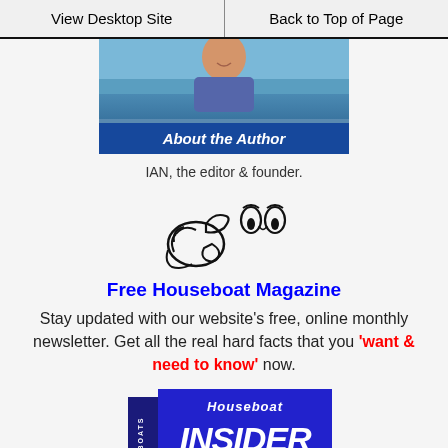View Desktop Site | Back to Top of Page
[Figure (photo): Photo of author with 'About the Author' label overlay]
IAN, the editor & founder.
[Figure (illustration): Cartoon hand pointing right with wide eyes illustration]
Free Houseboat Magazine
Stay updated with our website's free, online monthly newsletter. Get all the real hard facts that you 'want & need to know' now.
[Figure (photo): Houseboat INSIDER magazine book cover]